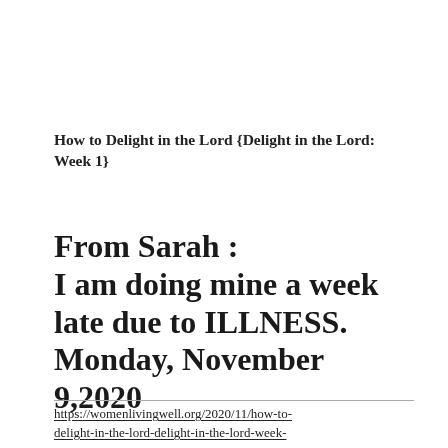How to Delight in the Lord {Delight in the Lord: Week 1}
From Sarah : I am doing mine a week late due to ILLNESS. Monday, November 9,2020
https://womenlivingwell.org/2020/11/how-to-delight-in-the-lord-delight-in-the-lord-week-